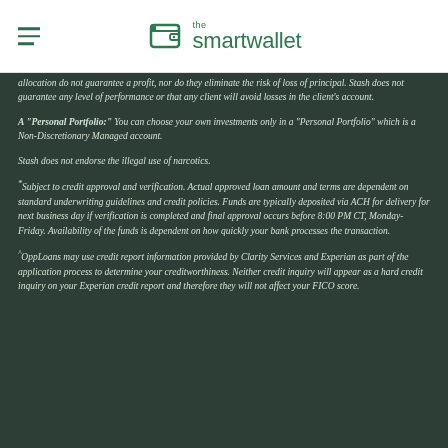the smartwallet
allocation do not guarantee a profit, nor do they eliminate the risk of loss of principal. Stash does not guarantee any level of performance or that any client will avoid losses in the client's account.
A "Personal Portfolio:" You can choose your own investments only in a "Personal Portfolio" which is a Non-Discretionary Managed account.
Stash does not endorse the illegal use of narcotics.
*Subject to credit approval and verification. Actual approved loan amount and terms are dependent on standard underwriting guidelines and credit policies. Funds are typically deposited via ACH for delivery for next business day if verification is completed and final approval occurs before 8:00 PM CT, Monday-Friday. Availability of the funds is dependent on how quickly your bank processes the transaction.
^OppLoans may use credit report information provided by Clarity Services and Experian as part of the application process to determine your creditworthiness. Neither credit inquiry will appear as a hard credit inquiry on your Experian credit report and therefore they will not affect your FICO score.